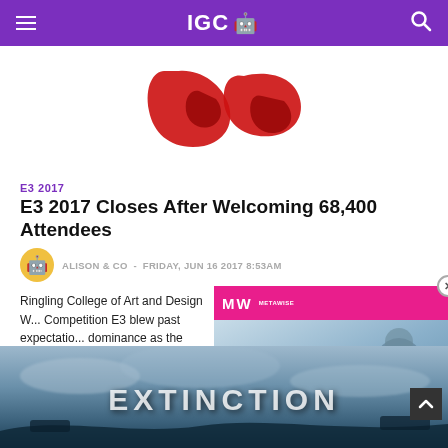IGC 🤖
[Figure (logo): Red stylized logo/graphic partially visible at top of page]
E3 2017
E3 2017 Closes After Welcoming 68,400 Attendees
ALISON & CO - FRIDAY, JUN 16 2017 8:53AM
Ringling College of Art and Design W... Competition E3 blew past expectatio... dominance as the world's biggest eve... and entertainment. A total of 68,400 p...
[Figure (screenshot): Video popup overlay showing MW (MetaWise) branded video player with 'BEST BROWSER GAMES 2022' title, play button in center, and pink/dark color scheme]
[Figure (photo): Dark atmospheric game image showing the word EXTINCTION in large white letters against a cloudy sky background]